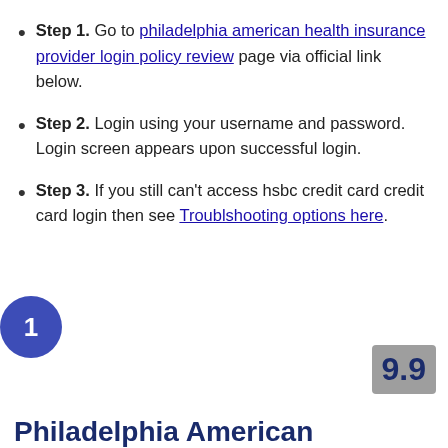Step 1. Go to philadelphia american health insurance provider login policy review page via official link below.
Step 2. Login using your username and password. Login screen appears upon successful login.
Step 3. If you still can't access hsbc credit card credit card login then see Troublshooting options here.
1
9.9
Philadelphia American